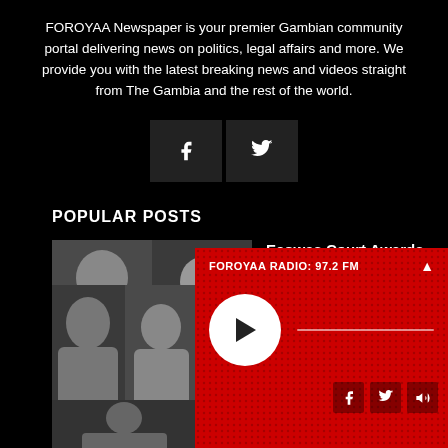FOROYAA Newspaper is your premier Gambian community portal delivering news on politics, legal affairs and more. We provide you with the latest breaking news and videos straight from The Gambia and the rest of the world.
[Figure (screenshot): Facebook and Twitter social media icon buttons on dark background]
POPULAR POSTS
[Figure (photo): Thumbnail photo showing two people: Alhagie Jobe and Fatou Camara]
Ecowas Court Awards Six Million Dalasis Against The Gambia
February 20, 2018
[Figure (screenshot): FOROYAA RADIO: 97.2 FM player widget with red background, play button, progress bar and social icons]